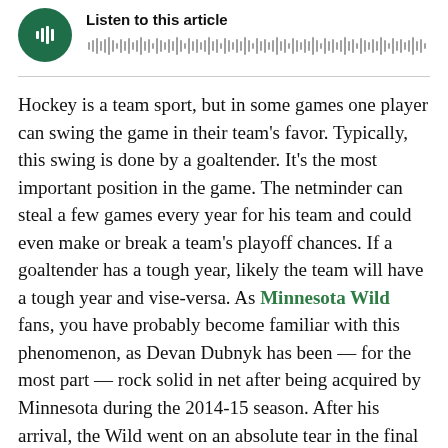[Figure (other): Audio player widget with dark green circular play button and waveform/progress bar. Title reads 'Listen to this article'.]
Hockey is a team sport, but in some games one player can swing the game in their team's favor. Typically, this swing is done by a goaltender. It's the most important position in the game. The netminder can steal a few games every year for his team and could even make or break a team's playoff chances. If a goaltender has a tough year, likely the team will have a tough year and vise-versa. As Minnesota Wild fans, you have probably become familiar with this phenomenon, as Devan Dubnyk has been — for the most part — rock solid in net after being acquired by Minnesota during the 2014-15 season. After his arrival, the Wild went on an absolute tear in the final 39 games, going 27-9-2 to reach the 100-point plateau for just the second time in